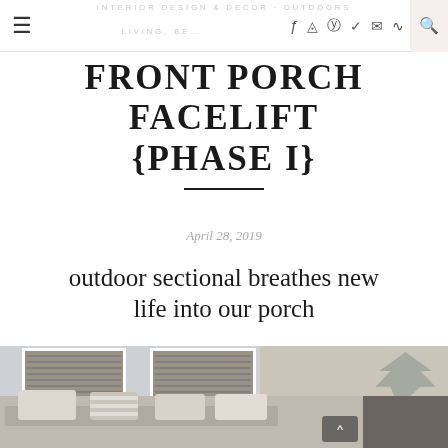INTERIOR DESIGN & DECOR · OUTDOORS · LIVING, BE…
FRONT PORCH FACELIFT {PHASE I}
April 28, 2019
outdoor sectional breathes new life into our porch
[Figure (photo): Front porch with outdoor sectional sofa with neutral cushions, two double-hung windows with blinds visible in background, beige house siding, and bare tree in upper right corner]